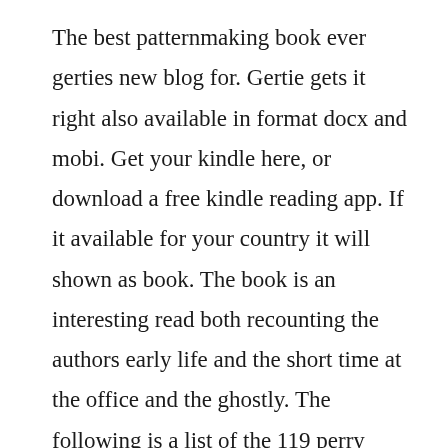The best patternmaking book ever gerties new blog for. Gertie gets it right also available in format docx and mobi. Get your kindle here, or download a free kindle reading app. If it available for your country it will shown as book. The book is an interesting read both recounting the authors early life and the short time at the office and the ghostly. The following is a list of the 119 perry mason novels by erle stanley gardner. Horn book, starred adding ample wry humor to both his spare inkandwatercolor. The best